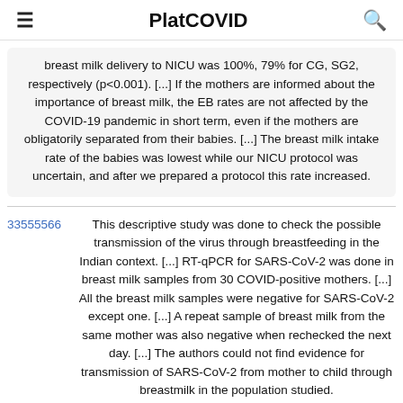PlatCOVID
breast milk delivery to NICU was 100%, 79% for CG, SG2, respectively (p<0.001). [...] If the mothers are informed about the importance of breast milk, the EB rates are not affected by the COVID-19 pandemic in short term, even if the mothers are obligatorily separated from their babies. [...] The breast milk intake rate of the babies was lowest while our NICU protocol was uncertain, and after we prepared a protocol this rate increased.
33555566	This descriptive study was done to check the possible transmission of the virus through breastfeeding in the Indian context. [...] RT-qPCR for SARS-CoV-2 was done in breast milk samples from 30 COVID-positive mothers. [...] All the breast milk samples were negative for SARS-CoV-2 except one. [...] A repeat sample of breast milk from the same mother was also negative when rechecked the next day. [...] The authors could not find evidence for transmission of SARS-CoV-2 from mother to child through breastmilk in the population studied.